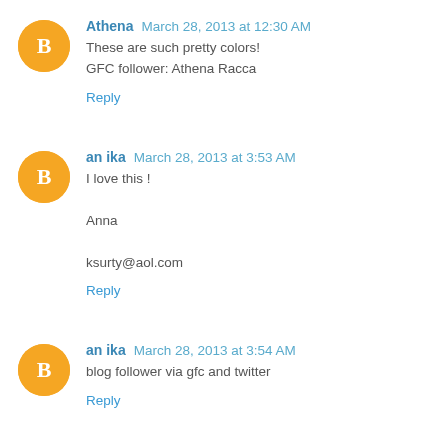Athena  March 28, 2013 at 12:30 AM
These are such pretty colors!
GFC follower: Athena Racca
Reply
an ika  March 28, 2013 at 3:53 AM
I love this !
Anna
ksurty@aol.com
Reply
an ika  March 28, 2013 at 3:54 AM
blog follower via gfc and twitter
Reply